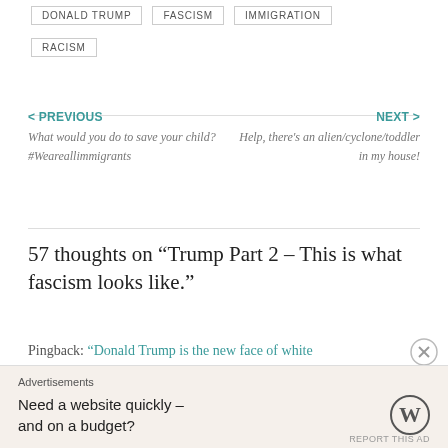DONALD TRUMP
FASCISM
IMMIGRATION
RACISM
< PREVIOUS
What would you do to save your child? #Weareallimmigrants
NEXT >
Help, there's an alien/cyclone/toddler in my house!
57 thoughts on “Trump Part 2 – This is what fascism looks like.”
Pingback: “Donald Trump is the new face of white
Advertisements
Need a website quickly – and on a budget?